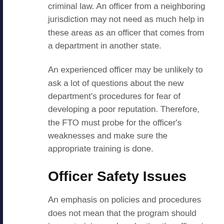criminal law. An officer from a neighboring jurisdiction may not need as much help in these areas as an officer that comes from a department in another state.
An experienced officer may be unlikely to ask a lot of questions about the new department's procedures for fear of developing a poor reputation. Therefore, the FTO must probe for the officer's weaknesses and make sure the appropriate training is done.
Officer Safety Issues
An emphasis on policies and procedures does not mean that the program should ignore training and evaluating the officer in critical areas such as officer safety and investigative